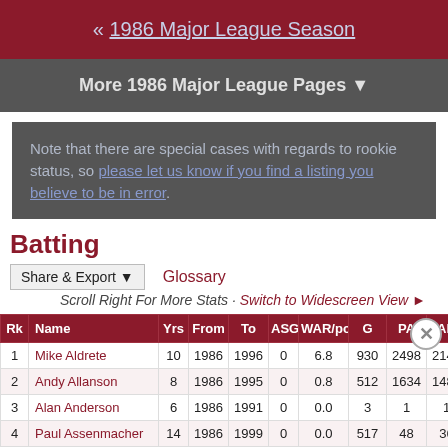« 1986 Major League Season
More 1986 Major League Pages ▼
Note that there are special cases with regards to rookie status, so please let us know if you find a listing you believe to be in error.
Batting
Share & Export ▼   Glossary
Scroll Right For More Stats · Switch to Widescreen View ►
| Rk | Name | Yrs | From | To | ASG | WAR/pos | G | PA | AB |
| --- | --- | --- | --- | --- | --- | --- | --- | --- | --- |
| 1 | Mike Aldrete | 10 | 1986 | 1996 | 0 | 6.8 | 930 | 2498 | 2147 |
| 2 | Andy Allanson | 8 | 1986 | 1995 | 0 | 0.8 | 512 | 1634 | 1486 |
| 3 | Alan Anderson | 6 | 1986 | 1991 | 0 | 0.0 | 3 | 1 | 1 |
| 4 | Paul Assenmacher | 14 | 1986 | 1999 | 0 | 0.0 | 517 | 48 | 36 |